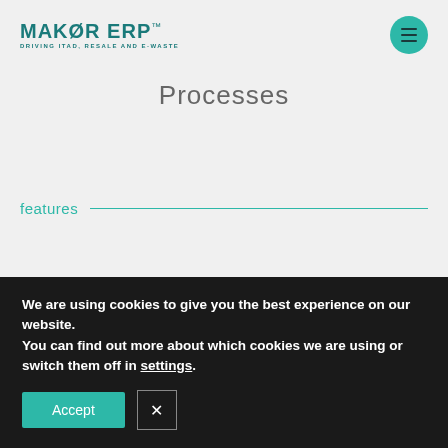MAKØR ERP™ DRIVING ITAD, RESALE AND E-WASTE
Processes
features
We are using cookies to give you the best experience on our website.
You can find out more about which cookies we are using or switch them off in settings.